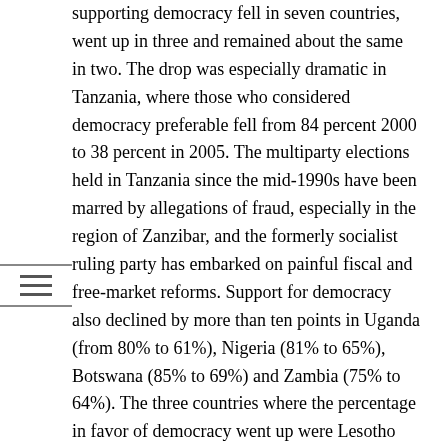supporting democracy fell in seven countries, went up in three and remained about the same in two. The drop was especially dramatic in Tanzania, where those who considered democracy preferable fell from 84 percent 2000 to 38 percent in 2005. The multiparty elections held in Tanzania since the mid-1990s have been marred by allegations of fraud, especially in the region of Zanzibar, and the formerly socialist ruling party has embarked on painful fiscal and free-market reforms. Support for democracy also declined by more than ten points in Uganda (from 80% to 61%), Nigeria (81% to 65%), Botswana (85% to 69%) and Zambia (75% to 64%). The three countries where the percentage in favor of democracy went up were Lesotho (40% to 50%), Mali (60% to 68%) and South Africa (60% to 65%).
The trend on satisfaction with democratic governments among the 12 countries was also negative, declining on